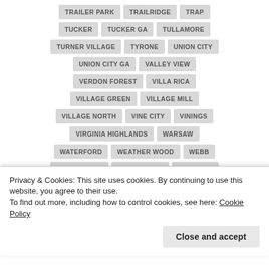TRAILER PARK
TRAILRIDGE
TRAP
TUCKER
TUCKER GA
TULLAMORE
TURNER VILLAGE
TYRONE
UNION CITY
UNION CITY GA
VALLEY VIEW
VERDON FOREST
VILLA RICA
VILLAGE GREEN
VILLAGE MILL
VILLAGE NORTH
VINE CITY
VININGS
VIRGINIA HIGHLANDS
WARSAW
WATERFORD
WEATHER WOOD
WEBB
WEDGEWOOD
WELLINGTON
WEST END
WEST END GA
WEST END PARK
Privacy & Cookies: This site uses cookies. By continuing to use this website, you agree to their use.
To find out more, including how to control cookies, see here: Cookie Policy
Close and accept